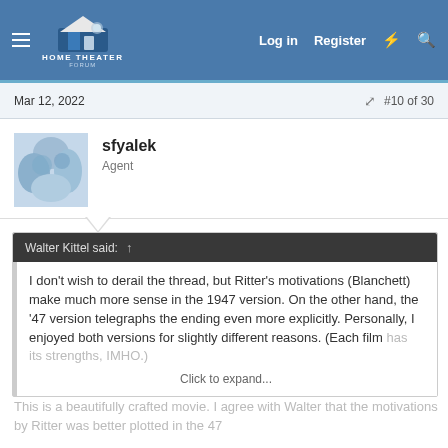Home Theater Forum — Log in  Register
Mar 12, 2022  #10 of 30
sfyalek
Agent
Walter Kittel said: ↑
I don't wish to derail the thread, but Ritter's motivations (Blanchett) make much more sense in the 1947 version. On the other hand, the '47 version telegraphs the ending even more explicitly. Personally, I enjoyed both versions for slightly different reasons. (Each film has its strengths, IMHO.)
Click to expand...
This is a beautifully crafted movie. I agree with Walter that the motivations by Ritter was better plotted in the 47